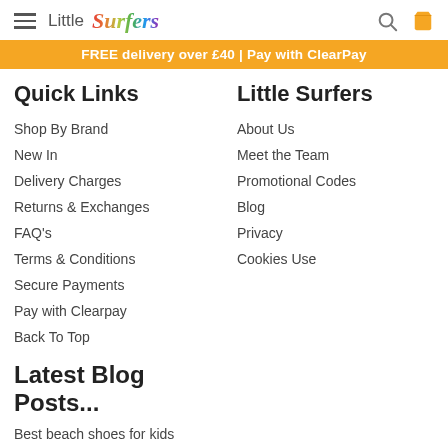Little Surfers
FREE delivery over £40 | Pay with ClearPay
Quick Links
Shop By Brand
New In
Delivery Charges
Returns & Exchanges
FAQ's
Terms & Conditions
Secure Payments
Pay with Clearpay
Back To Top
Little Surfers
About Us
Meet the Team
Promotional Codes
Blog
Privacy
Cookies Use
Latest Blog Posts...
Best beach shoes for kids
Top 10 Beach Essentials
With a Toddler